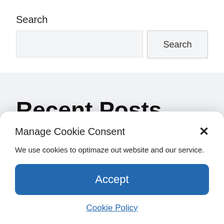Search
[Figure (screenshot): Search input box and Search button]
Recent Posts
Manage Cookie Consent
We use cookies to optimaze out website and our service.
Accept
Cookie Policy